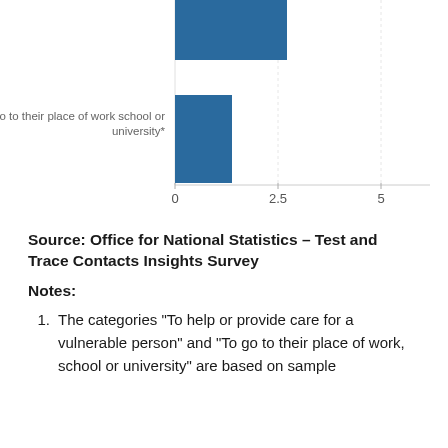[Figure (bar-chart): Reason for leaving home (partial view)]
Source: Office for National Statistics – Test and Trace Contacts Insights Survey
Notes:
The categories "To help or provide care for a vulnerable person" and "To go to their place of work, school or university" are based on sample